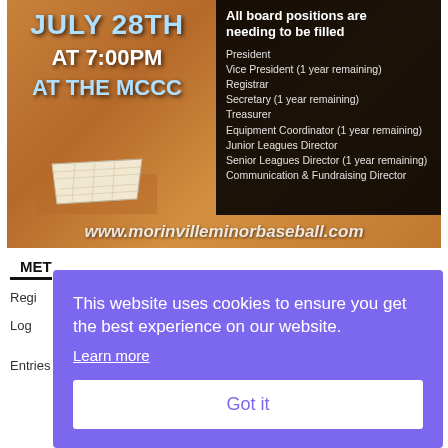[Figure (infographic): Baseball announcement flyer on sandy/dirt field background with a base plate. Left side shows event details in large white/blue text. Right side has black box listing board positions to be filled. Bottom shows website URL.]
MET
Regi
Log
Entries feed
This website uses cookies to ensure you get the best experience on our website.
Learn more
Got it